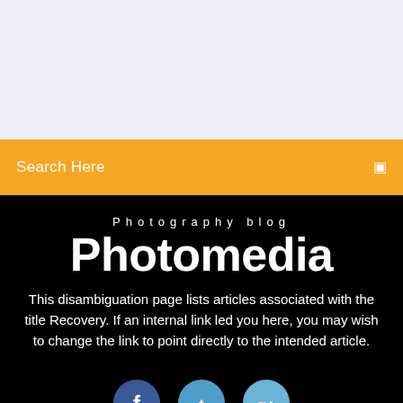[Figure (other): Light purple/grey banner area at the top of the page]
Search Here
Photography blog
Photomedia
This disambiguation page lists articles associated with the title Recovery. If an internal link led you here, you may wish to change the link to point directly to the intended article.
[Figure (other): Three social media circles partially visible at the bottom: Facebook (dark blue), Twitter (medium blue), Google+ (light blue)]